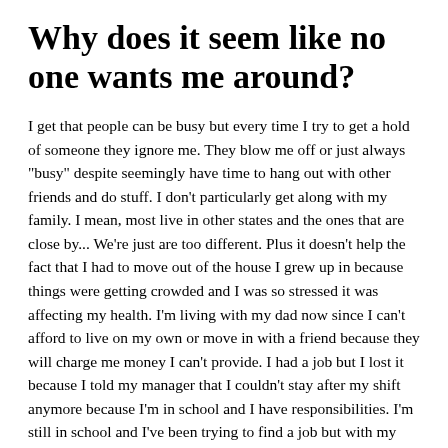Why does it seem like no one wants me around?
I get that people can be busy but every time I try to get a hold of someone they ignore me. They blow me off or just always "busy" despite seemingly have time to hang out with other friends and do stuff. I don't particularly get along with my family. I mean, most live in other states and the ones that are close by... We're just are too different. Plus it doesn't help the fact that I had to move out of the house I grew up in because things were getting crowded and I was so stressed it was affecting my health. I'm living with my dad now since I can't afford to live on my own or move in with a friend because they will charge me money I can't provide. I had a job but I lost it because I told my manager that I couldn't stay after my shift anymore because I'm in school and I have responsibilities. I'm still in school and I've been trying to find a job but with my new classes, homework keeps me busy but I also try my best to find a job and I've sold a few art pieces and I've been managing the money I do have pretty well. I also help around the house by cleaning, cooking, grocery shopping and doing yard work for my dad since he has a bad back. I have a boyfriend but lately we